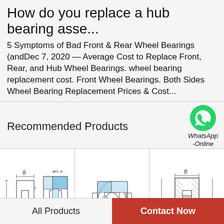How do you replace a hub bearing asse...
5 Symptoms of Bad Front & Rear Wheel Bearings (andDec 7, 2020 — Average Cost to Replace Front, Rear, and Hub Wheel Bearings. wheel bearing replacement cost. Front Wheel Bearings. Both Sides Wheel Bearing Replacement Prices & Cost...
Recommended Products
[Figure (engineering-diagram): Technical engineering diagram of a hub bearing assembly showing cross-section and front view with dimension labels B, r, r1, phiD, phiFW, phid, D, D1, Da]
[Figure (engineering-diagram): Technical engineering diagram of a hub bearing assembly showing isometric/3D cross-section view with dimension labels phiD, phida, phid, and retaining ring detail]
[Figure (engineering-diagram): Technical engineering diagram of a hub bearing showing cross-section with dimension labels B, D, FW, d]
WhatsApp Online
All Products
Contact Now